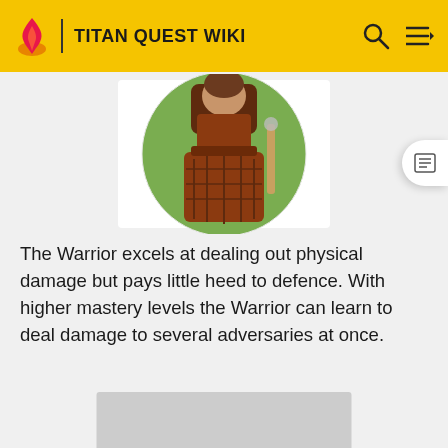TITAN QUEST WIKI
[Figure (illustration): Warrior character illustration in circular frame showing a figure in red/brown armor holding a weapon, on a green background, with white card backdrop]
The Warrior excels at dealing out physical damage but pays little heed to defence. With higher mastery levels the Warrior can learn to deal damage to several adversaries at once.
[Figure (illustration): Gray placeholder rectangle, partially visible at bottom of page]